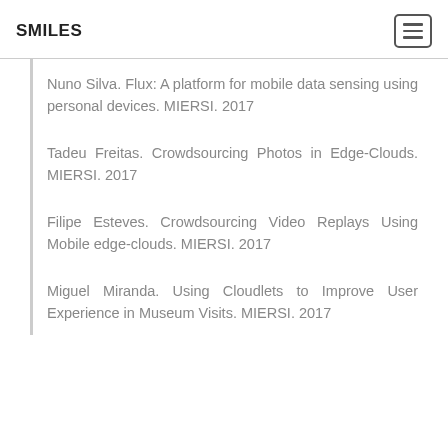SMILES
Nuno Silva. Flux: A platform for mobile data sensing using personal devices. MIERSI. 2017
Tadeu Freitas. Crowdsourcing Photos in Edge-Clouds. MIERSI. 2017
Filipe Esteves. Crowdsourcing Video Replays Using Mobile edge-clouds. MIERSI. 2017
Miguel Miranda. Using Cloudlets to Improve User Experience in Museum Visits. MIERSI. 2017